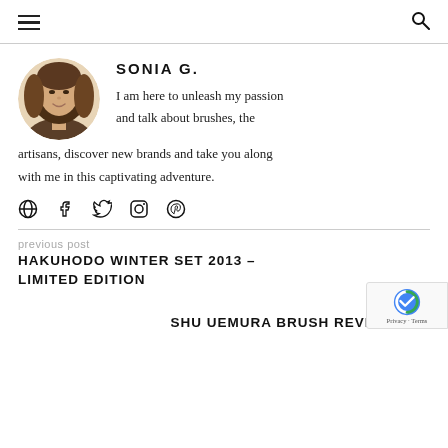≡  🔍
[Figure (photo): Circular profile photo of Sonia G., a woman with long brown hair, smiling.]
SONIA G.
I am here to unleash my passion and talk about brushes, the artisans, discover new brands and take you along with me in this captivating adventure.
[Figure (infographic): Row of social media icons: globe/website, Facebook, Twitter, Instagram, Pinterest]
previous post
HAKUHODO WINTER SET 2013 – LIMITED EDITION
next post
SHU UEMURA BRUSH REVIEW : 12.